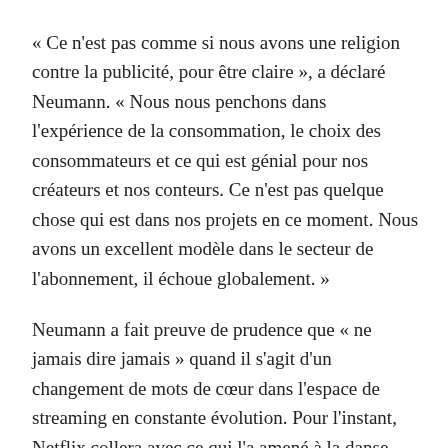« Ce n'est pas comme si nous avons une religion contre la publicité, pour être claire », a déclaré Neumann. « Nous nous penchons dans l'expérience de la consommation, le choix des consommateurs et ce qui est génial pour nos créateurs et nos conteurs. Ce n'est pas quelque chose qui est dans nos projets en ce moment. Nous avons un excellent modèle dans le secteur de l'abonnement, il échoue globalement. »
Neumann a fait preuve de prudence que « ne jamais dire jamais » quand il s'agit d'un changement de mots de cœur dans l'espace de streaming en constante évolution. Pour l'instant, Netflix collera avec ce qui l'a amené à la danse.